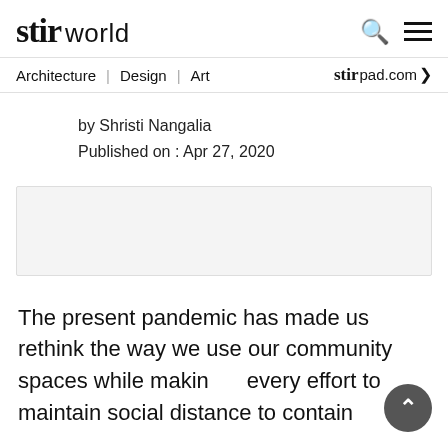stir world
Architecture | Design | Art  stir pad.com
by Shristi Nangalia
Published on : Apr 27, 2020
[Figure (other): Advertisement or image placeholder box with light gray background]
The present pandemic has made us rethink the way we use our community spaces while making every effort to maintain social distance to contain